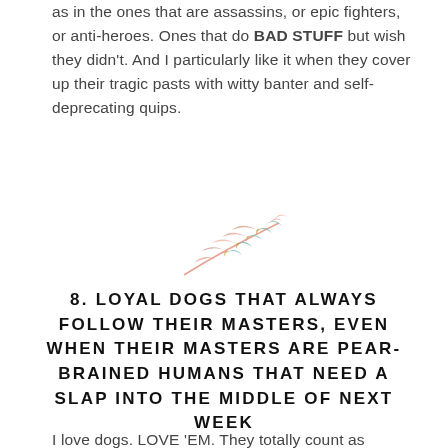as in the ones that are assassins, or epic fighters, or anti-heroes. Ones that do BAD STUFF but wish they didn't. And I particularly like it when they cover up their tragic pasts with witty banter and self-deprecating quips.
[Figure (illustration): A decorative feather illustration made of colorful segments in pink, teal, gold, and salmon colors arranged in a leaf/feather shape.]
8. LOYAL DOGS THAT ALWAYS FOLLOW THEIR MASTERS, EVEN WHEN THEIR MASTERS ARE PEAR-BRAINED HUMANS THAT NEED A SLAP INTO THE MIDDLE OF NEXT WEEK
I love dogs. LOVE 'EM. They totally count as characters too,